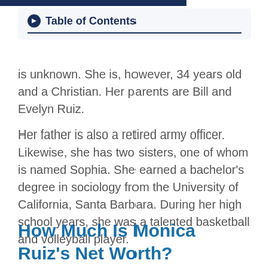Table of Contents
is unknown. She is, however, 34 years old and a Christian. Her parents are Bill and Evelyn Ruiz.
Her father is also a retired army officer. Likewise, she has two sisters, one of whom is named Sophia. She earned a bachelor's degree in sociology from the University of California, Santa Barbara. During her high school years, she was a talented basketball and volleyball player.
How Much Is Monica Ruiz's Net Worth?